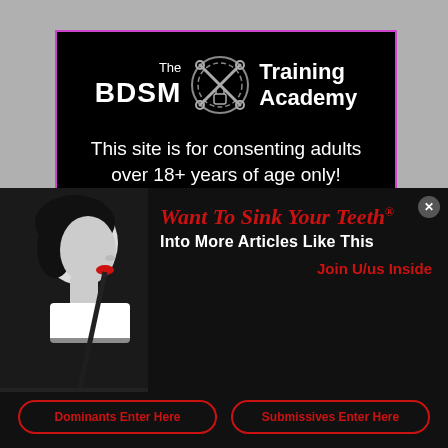[Figure (logo): The BDSM Training Academy logo with crossed implements and chain circle icon]
This site is for consenting adults over 18+ years of age only!
By Clicking "Yes, I am over 18+ years old" you agree the following statements are true:
[Figure (photo): Black and white side profile photo of a woman with short dark hair and red lips]
Want To Sink Your Teeth Into More Articles Like This
Join U/us Inside
Dominants Enter Here
Submissives Enter Here